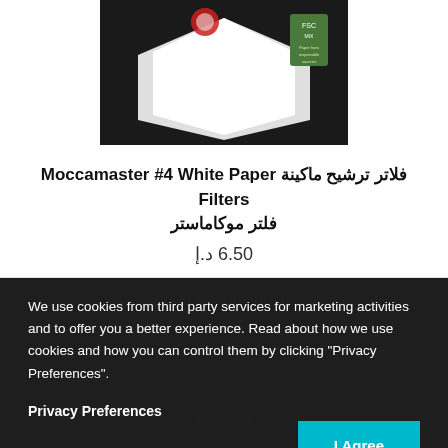[Figure (photo): Product image of Moccamaster white paper filters on black background]
فلاتر ترشيح ماكينة Moccamaster #4 White Paper Filters فلتر موكاماستر
6.50 د.إ
RELATED PRODUCTS
We use cookies from third party services for marketing activities and to offer you a better experience. Read about how we use cookies and how you can control them by clicking "Privacy Preferences".
Privacy Preferences